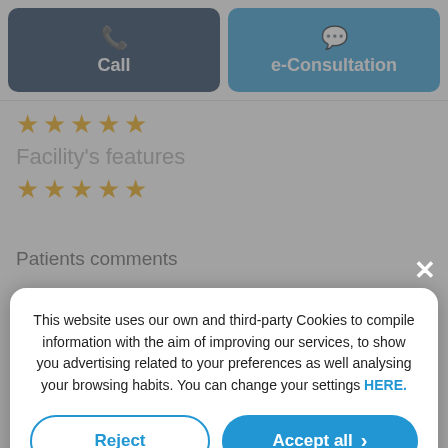[Figure (screenshot): Two buttons: dark navy 'Call' button with phone icon on left, blue 'e-Consultation' button with chat icon on right]
★★★★★
Facility's features
★★★★★
Patients comments
This website uses our own and third-party Cookies to compile information with the aim of improving our services, to show you advertising related to your preferences as well analysing your browsing habits. You can change your settings HERE.
Reject
Accept all
Custom configuration | Cookies Policy | Privacy Policy
Bedside manner